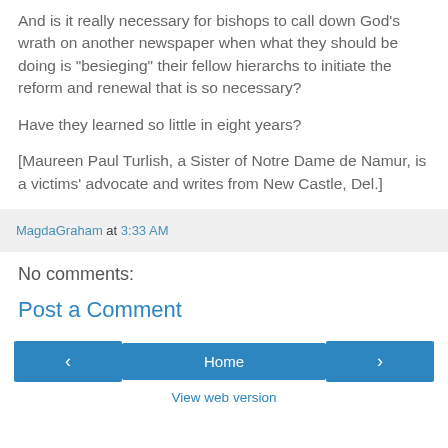And is it really necessary for bishops to call down God's wrath on another newspaper when what they should be doing is "besieging" their fellow hierarchs to initiate the reform and renewal that is so necessary?
Have they learned so little in eight years?
[Maureen Paul Turlish, a Sister of Notre Dame de Namur, is a victims' advocate and writes from New Castle, Del.]
MagdaGraham at 3:33 AM
No comments:
Post a Comment
‹
Home
›
View web version